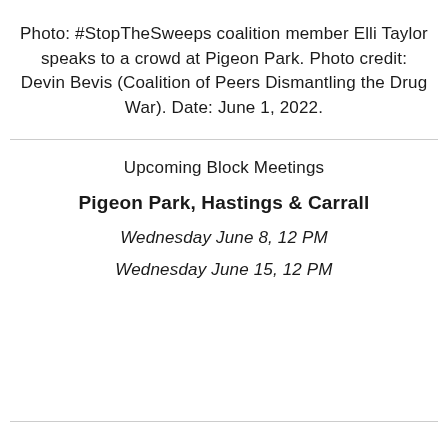Photo: #StopTheSweeps coalition member Elli Taylor speaks to a crowd at Pigeon Park. Photo credit: Devin Bevis (Coalition of Peers Dismantling the Drug War). Date: June 1, 2022.
Upcoming Block Meetings
Pigeon Park, Hastings & Carrall
Wednesday June 8, 12 PM
Wednesday June 15, 12 PM